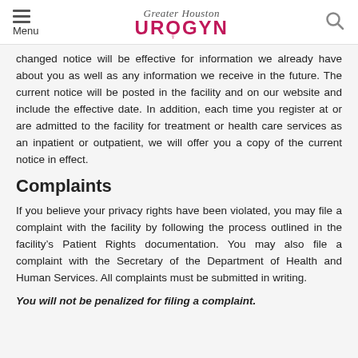Menu | Greater Houston UROGYN
changed notice will be effective for information we already have about you as well as any information we receive in the future. The current notice will be posted in the facility and on our website and include the effective date. In addition, each time you register at or are admitted to the facility for treatment or health care services as an inpatient or outpatient, we will offer you a copy of the current notice in effect.
Complaints
If you believe your privacy rights have been violated, you may file a complaint with the facility by following the process outlined in the facility’s Patient Rights documentation. You may also file a complaint with the Secretary of the Department of Health and Human Services. All complaints must be submitted in writing.
You will not be penalized for filing a complaint.